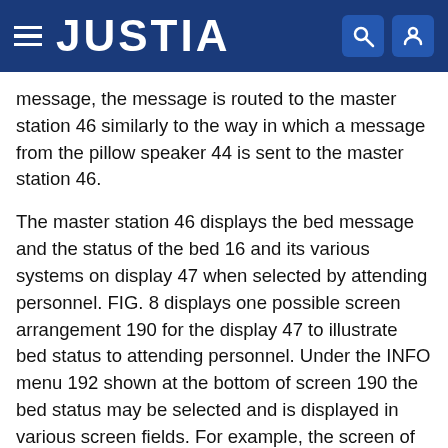JUSTIA
message, the message is routed to the master station 46 similarly to the way in which a message from the pillow speaker 44 is sent to the master station 46.
The master station 46 displays the bed message and the status of the bed 16 and its various systems on display 47 when selected by attending personnel. FIG. 8 displays one possible screen arrangement 190 for the display 47 to illustrate bed status to attending personnel. Under the INFO menu 192 shown at the bottom of screen 190 the bed status may be selected and is displayed in various screen fields. For example, the screen of FIG. 8 illustrates that the bed in Room 103A has its exit system armed 194, one or more of the side rails in a down position 196, the bed brakes set 198, the height of the bed in an upward position 200 and the mattress in a comfort mode 202. Other conditions which are detected